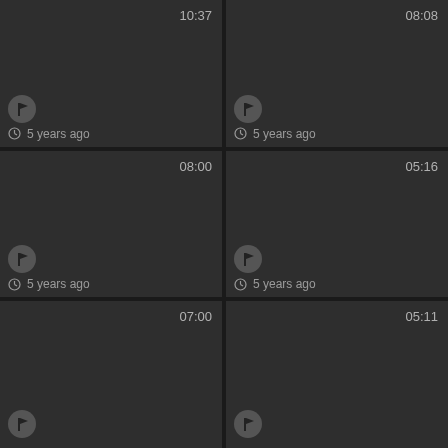[Figure (screenshot): Video thumbnail grid showing 6 dark video cards, each with a duration timestamp in the top-right corner, a flag icon in the lower-left, and '5 years ago' text with a clock icon below the flag. Durations: 10:37, 08:08, 08:00, 05:16, 07:00, 05:11.]